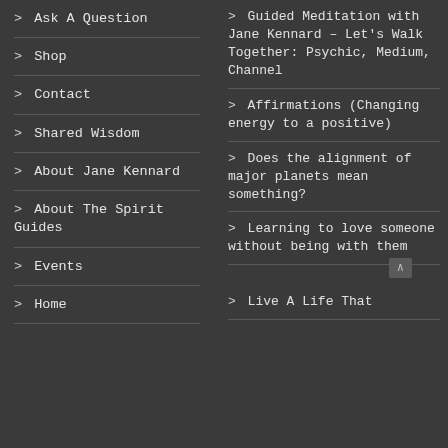> Ask A Question
> Shop
> Contact
> Shared Wisdom
> About Jane Kennard
> About The Spirit Guides
> Events
> Home
> Guided Meditation with Jane Kennard – Let's Walk Together: Psychic, Medium, Channel
> Affirmations (Changing energy to a positive)
> Does the alignment of major planets mean something?
> Learning to love someone without being with them
> Live A Life That